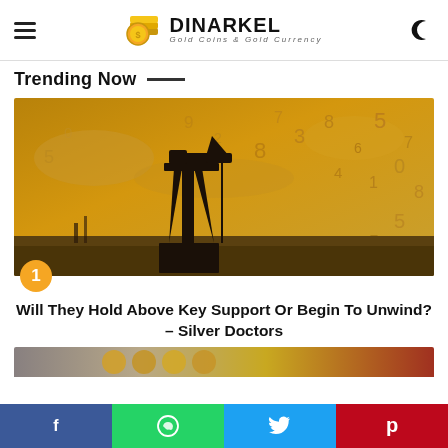DINARKEL – Gold Coins & Gold Currency
Trending Now
[Figure (photo): Oil pump jack silhouetted against a golden sky overlaid with numbers and digits]
Will They Hold Above Key Support Or Begin To Unwind? – Silver Doctors
[Figure (photo): Partial view of gold coins or gold-toned items at the bottom of the page]
Social share bar: Facebook, WhatsApp, Twitter, Pinterest